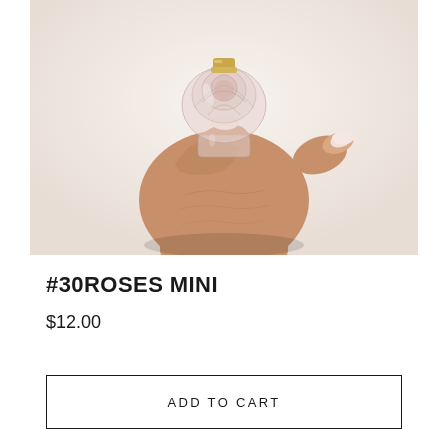[Figure (photo): A hand with light pink manicured nails holding a small rose-shaped clear glass perfume bottle with a gold cap, against a white/light background.]
#30ROSES MINI
$12.00
ADD TO CART